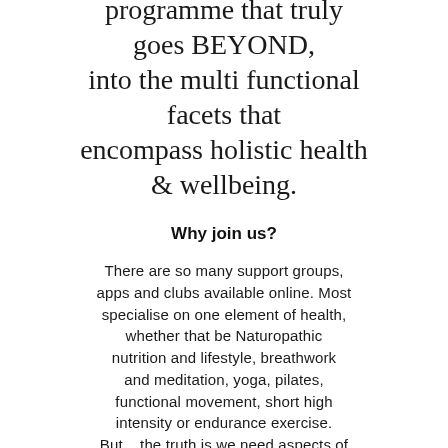programme that truly goes BEYOND, into the multi functional facets that encompass holistic health & wellbeing.
Why join us?
There are so many support groups, apps and clubs available online. Most specialise on one element of health, whether that be Naturopathic nutrition and lifestyle, breathwork and meditation, yoga, pilates, functional movement, short high intensity or endurance exercise. But... the truth is we need aspects of